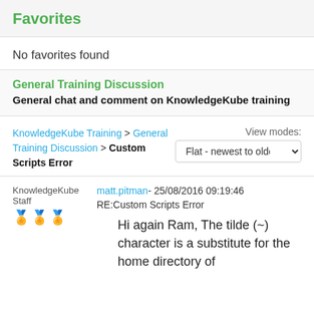Favorites
No favorites found
General Training Discussion
General chat and comment on KnowledgeKube training
KnowledgeKube Training > General Training Discussion > Custom Scripts Error
View modes: Flat - newest to oldest
KnowledgeKube Staff 🏅🏅🏅
matt.pitman - 25/08/2016 09:19:46
RE:Custom Scripts Error
Hi again Ram, The tilde (~) character is a substitute for the home directory of